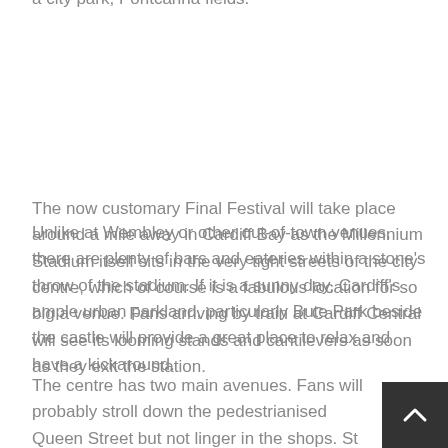a city park, Pontcanna fields.
The now customary Final Festival will take place around a mile away in Cardiff Bay as the Millennium Stadium itself sits in the very tight streets of the city centre, which of course is a fabulous location for so big a venue. Fans arriving by train at Cardiff Central will see its looming stands and cantilevers as soon as they exit the station.
Unlike at Wembley or other out-of-town venues, there are plenty of bars and eateries within a stone's throw of the stadium. If it is a sunny day, Cardiff's ample urban parkland, particularly Bute Park beside the castle will provide a great place to relax and have a kickaround.
The centre has two main avenues. Fans will probably stroll down the pedestrianised Queen Street but not linger in the shops. St Mary Street leading to the castle is mostly bars and restaurants and will be buzzing on